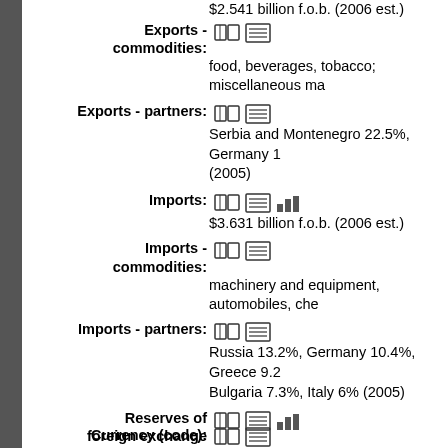$2.541 billion f.o.b. (2006 est.)
Exports - commodities: food, beverages, tobacco; miscellaneous manufactures
Exports - partners: Serbia and Montenegro 22.5%, Germany 1... (2005)
Imports: $3.631 billion f.o.b. (2006 est.)
Imports - commodities: machinery and equipment, automobiles, chemicals...
Imports - partners: Russia 13.2%, Germany 10.4%, Greece 9.2%, Bulgaria 7.3%, Italy 6% (2005)
Reserves of foreign exchange and gold: $1.845 billion (2006 est.)
Debt - external: $2.138 billion (2006 est.)
Economic aid - recipient: $250 million (2003 est.)